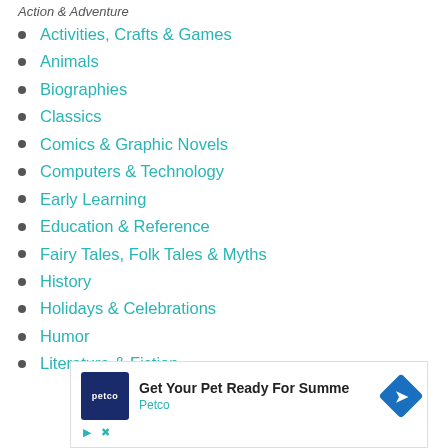Action & Adventure
Activities, Crafts & Games
Animals
Biographies
Classics
Comics & Graphic Novels
Computers & Technology
Early Learning
Education & Reference
Fairy Tales, Folk Tales & Myths
History
Holidays & Celebrations
Humor
Literature & Fiction
[Figure (other): Petco advertisement banner: 'Get Your Pet Ready For Summe' with Petco logo and navigation arrow icon]